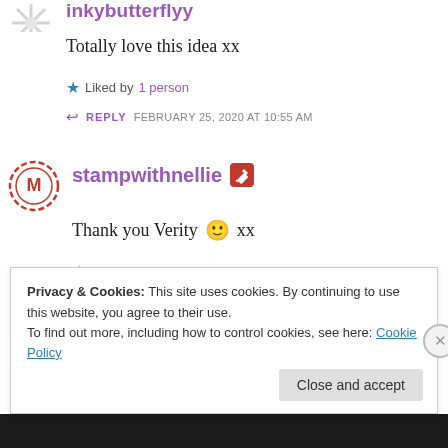inkybutterflyy
Totally love this idea xx
Liked by 1 person
REPLY   FEBRUARY 25, 2020 AT 10:55 AM
stampwithnellie
Thank you Verity 🙂 xx
Like
REPLY   FEBRUARY 25, 2020 AT 11:00 AM
Privacy & Cookies: This site uses cookies. By continuing to use this website, you agree to their use. To find out more, including how to control cookies, see here: Cookie Policy